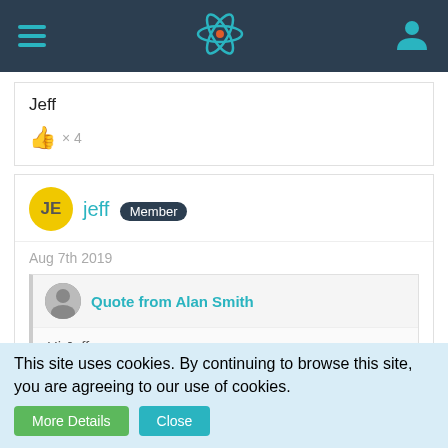[Figure (screenshot): Top navigation bar with hamburger menu icon on left, teal atom/react logo in center, teal user profile icon on right, dark background]
Jeff
👍 × 4
jeff Member
Aug 7th 2019
Quote from Alan Smith
Hi Jeff.

I'm afraid it's al gone now. As I have to buy 20 pieces a time right now I can't help you unless a few other people step up.
This site uses cookies. By continuing to browse this site, you are agreeing to our use of cookies.
More Details
Close